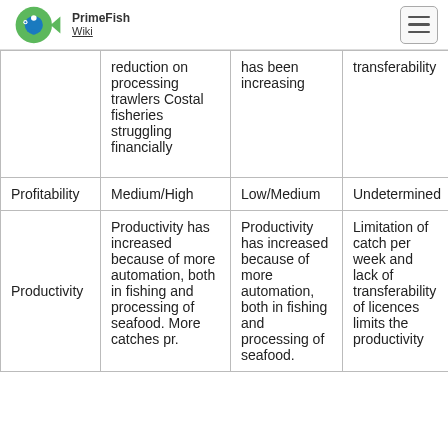PrimeFish Wiki
|  | Column1 | Column2 | Column3 |
| --- | --- | --- | --- |
|  | reduction on processing trawlers Costal fisheries struggling financially | [capacity] has been increasing | transferability |
| Profitability | Medium/High | Low/Medium | Undetermined |
| Productivity | Productivity has increased because of more automation, both in fishing and processing of seafood. More catches pr. | Productivity has increased because of more automation, both in fishing and processing of seafood. | Limitation of catch per week and lack of transferability of licences limits the productivity |